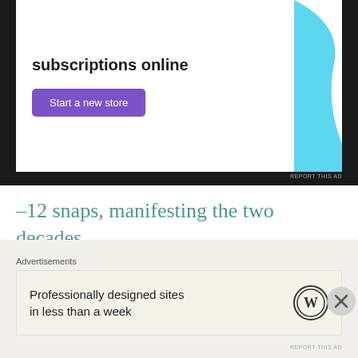[Figure (screenshot): Advertisement banner for selling subscriptions online with purple button and blue graphic]
–12 snaps, manifesting the two decades
Loved this post? Do share your thoughts!!
Wanna catchup some social taste?
~ LinkedIn Instagram REDDIT Websit
~ Tumblr Pinterest
Advertisements
[Figure (screenshot): WordPress advertisement: Professionally designed sites in less than a week]